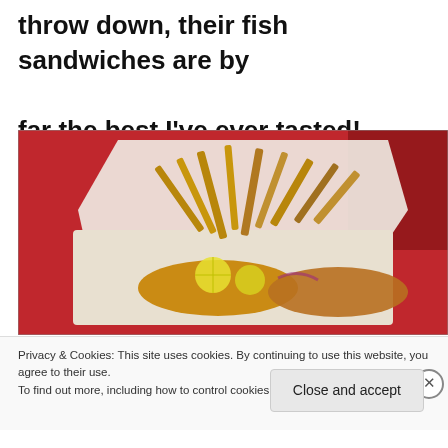throw down, their fish sandwiches are by far the best I've ever tasted!
[Figure (photo): A fish sandwich with french fries and lemon slices in a paper-lined basket, set against a red background cloth.]
Privacy & Cookies: This site uses cookies. By continuing to use this website, you agree to their use.
To find out more, including how to control cookies, see here: Cookie Policy